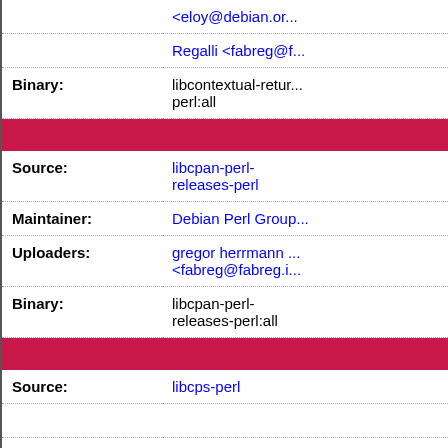| Binary: | libcontextual-retur...
perl:all |
| libcpan-perl-... |  |
| Source: | libcpan-perl-releases-perl |
| Maintainer: | Debian Perl Group |
| Uploaders: | gregor herrmann ...
<fabreg@fabreg.i... |
| Binary: | libcpan-perl-releases-perl:all |
| libcp... |  |
| Source: | libcps-perl |
| Maintainer: | Debian Perl Group |
| Uploaders: | Jonathan Yu <jaw...
<gregoa@debian.... |
| Binary: | libcps-perl:all |